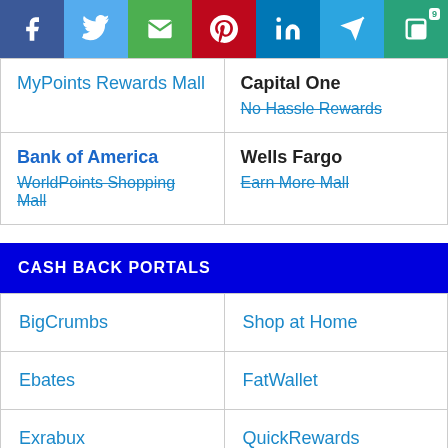[Figure (other): Social share bar with Facebook, Twitter, Email, Pinterest, LinkedIn, Telegram, and copy/number buttons]
| MyPoints Rewards Mall | Capital One
No Hassle Rewards |
| Bank of America
WorldPoints Shopping Mall | Wells Fargo
Earn More Mall |
CASH BACK PORTALS
| BigCrumbs | Shop at Home |
| Ebates | FatWallet |
| Exrabux | QuickRewards |
| Sunshine Rewards | Send Earnings |